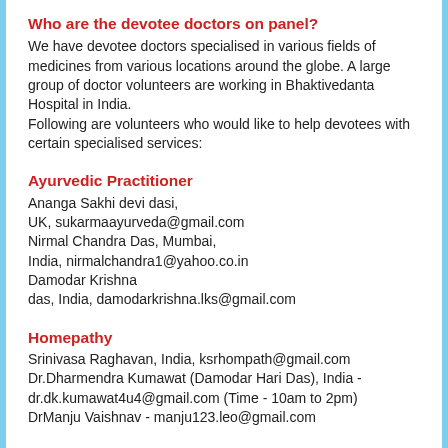Who are the devotee doctors on panel?
We have devotee doctors specialised in various fields of medicines from various locations around the globe. A large group of doctor volunteers are working in Bhaktivedanta Hospital in India.
Following are volunteers who would like to help devotees with certain specialised services:
Ayurvedic Practitioner
Ananga Sakhi devi dasi,
UK, sukarmaayurveda@gmail.com
Nirmal Chandra Das, Mumbai,
India, nirmalchandra1@yahoo.co.in
Damodar Krishna
das, India, damodarkrishna.lks@gmail.com
Homepathy
Srinivasa Raghavan, India, ksrhompath@gmail.com
Dr.Dharmendra Kumawat (Damodar Hari Das), India - dr.dk.kumawat4u4@gmail.com (Time - 10am to 2pm)
DrManju Vaishnav - manju123.leo@gmail.com